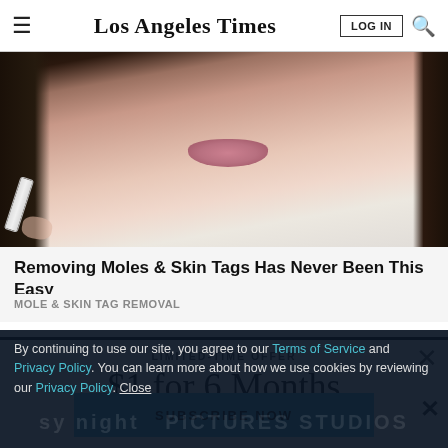Los Angeles Times
[Figure (photo): Close-up photo of a woman's lower face and lips with dark hair, holding a device near her chin — advertisement image for mole and skin tag removal product]
Removing Moles & Skin Tags Has Never Been This Easy
MOLE & SKIN TAG REMOVAL
LIMITED-TIME OFFER
$1 for 6 Months
SUBSCRIBE NOW
By continuing to use our site, you agree to our Terms of Service and Privacy Policy. You can learn more about how we use cookies by reviewing our Privacy Policy. Close